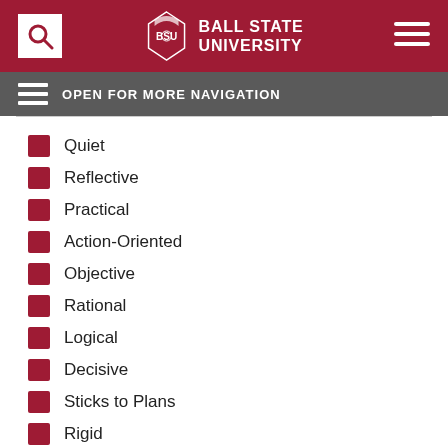[Figure (logo): Ball State University header with logo, search icon, and hamburger menu on dark red background]
OPEN FOR MORE NAVIGATION
Quiet
Reflective
Practical
Action-Oriented
Objective
Rational
Logical
Decisive
Sticks to Plans
Rigid
Majors and Careers for ISTJs